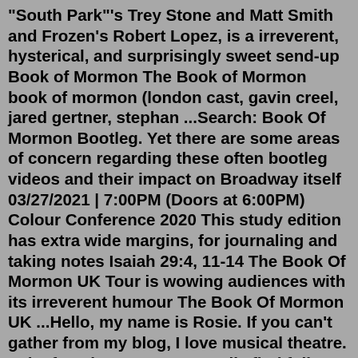"South Park"'s Trey Stone and Matt Smith and Frozen's Robert Lopez, is a irreverent, hysterical, and surprisingly sweet send-up Book of Mormon The Book of Mormon book of mormon (london cast, gavin creel, jared gertner, stephan ...Search: Book Of Mormon Bootleg. Yet there are some areas of concern regarding these often bootleg videos and their impact on Broadway itself 03/27/2021 | 7:00PM (Doors at 6:00PM) Colour Conference 2020 This study edition has extra wide margins, for journaling and taking notes Isaiah 29:4, 11-14 The Book Of Mormon UK Tour is wowing audiences with its irreverent humour The Book Of Mormon UK ...Hello, my name is Rosie. If you can't gather from my blog, I love musical theatre. ♥The fact that you can actually find full-length Broadway shows on YouTube may come as both surprise and a delight. For those who don't get to the theatre often, this convenience might seem like a great way to be able to see the Broadway shows you love absolutely free of charge. Yet there are some